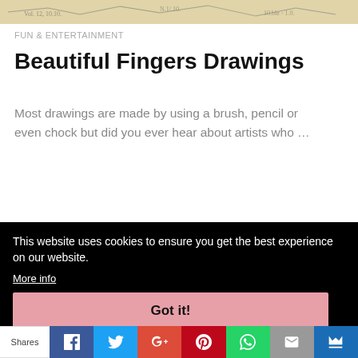[Figure (photo): Partial view of a handwritten or sketched artwork on a beige/cream background]
FUN & ENTERTAINMENT
Beautiful Fingers Drawings
Most drawings are made by using a brush, pencil or even chock but did you ever hear about artists who …
This website uses cookies to ensure you get the best experience on our website.
More info
Got it!
Shares